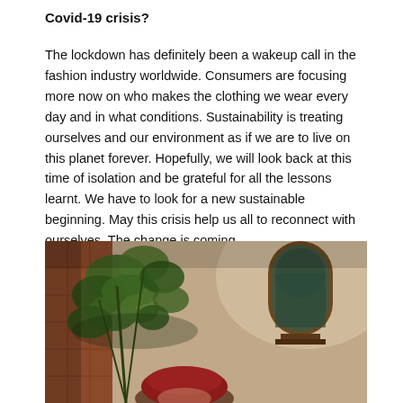Covid-19 crisis?
The lockdown has definitely been a wakeup call in the fashion industry worldwide. Consumers are focusing more now on who makes the clothing we wear every day and in what conditions. Sustainability is treating ourselves and our environment as if we are to live on this planet forever. Hopefully, we will look back at this time of isolation and be grateful for all the lessons learnt. We have to look for a new sustainable beginning. May this crisis help us all to reconnect with ourselves. The change is coming.
[Figure (photo): A fashion photograph showing a woman wearing a red knitted beret, partially obscured by green leafy plants. In the background there is a decorative wooden mirror with an arched top, and a beige/grey textured wall. The image has warm, earthy tones with dramatic light and shadow.]